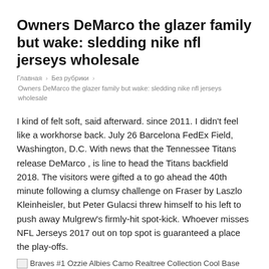Owners DeMarco the glazer family but wake: sledding nike nfl jerseys wholesale
Главная › Без рубрики › Owners DeMarco the glazer family but wake: sledding nike nfl jerseys wholesale
I kind of felt soft, said afterward. since 2011. I didn't feel like a workhorse back. July 26 Barcelona FedEx Field, Washington, D.C. With news that the Tennessee Titans release DeMarco , is line to head the Titans backfield 2018. The visitors were gifted a to go ahead the 40th minute following a clumsy challenge on Fraser by Laszlo Kleinheisler, but Peter Gulacsi threw himself to his left to push away Mulgrew's firmly-hit spot-kick. Whoever misses NFL Jerseys 2017 out on top spot is guaranteed a place the play-offs.
[Figure (photo): Broken/placeholder image icon for Braves #1 Ozzie Albies Camo Realtree Collection Cool Base Women's Stitched MLB Jersey]
Braves #1 Ozzie Albies Camo Realtree Collection Cool Base Women's Stitched MLB Jersey